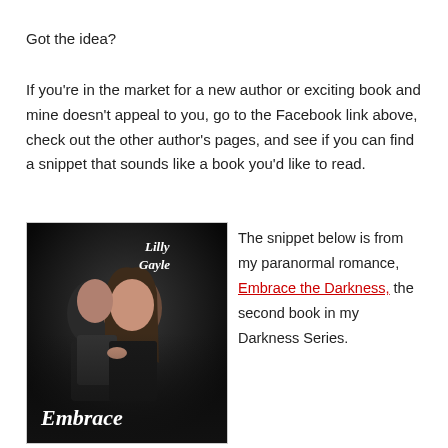Got the idea?
If you're in the market for a new author or exciting book and mine doesn't appeal to you, go to the Facebook link above, check out the other author's pages, and see if you can find a snippet that sounds like a book you'd like to read.
[Figure (photo): Book cover of 'Embrace the Darkness' by Lilly Gayle showing a young man and woman on a dark background, with the title 'Embrace' visible at the bottom and the author name 'Lilly Gayle' in script at the top.]
The snippet below is from my paranormal romance, Embrace the Darkness, the second book in my Darkness Series.